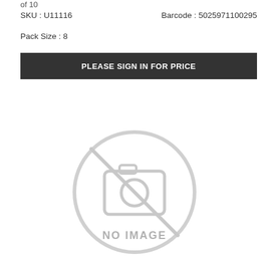of 10
SKU : U11116    Barcode : 5025971100295
Pack Size : 8
PLEASE SIGN IN FOR PRICE
[Figure (illustration): NO IMAGE placeholder graphic — a circle with a crossed-out camera/image icon and the text NO IMAGE]